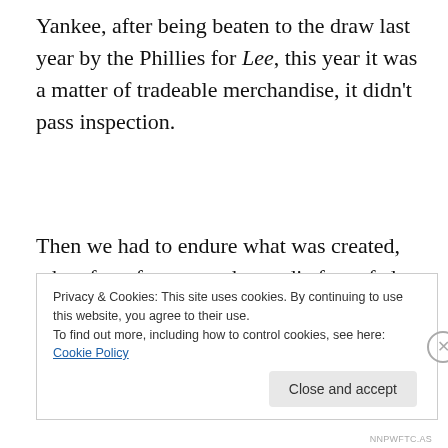Yankee, after being beaten to the draw last year by the Phillies for Lee, this year it was a matter of tradeable merchandise, it didn't pass inspection.
Then we had to endure what was created, when for a few years the media force fed everyone about how great someone is, and constantly fed that persons ego, add to that huge amounts of wealth and you crown yourself King
Privacy & Cookies: This site uses cookies. By continuing to use this website, you agree to their use.
To find out more, including how to control cookies, see here: Cookie Policy
Close and accept
NNPWFTC.AS